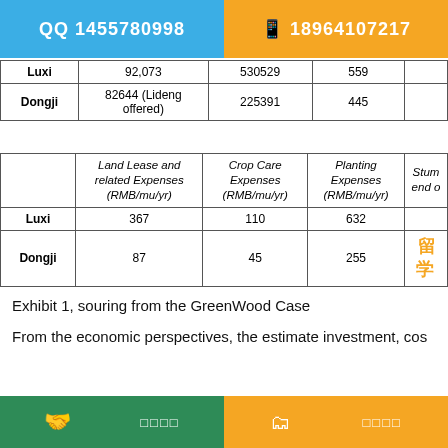QQ 1455780998   📱 18964107217
|  | Land Lease and related Expenses (RMB/mu/yr) | Crop Care Expenses (RMB/mu/yr) | Planting Expenses (RMB/mu/yr) | Stump... |
| --- | --- | --- | --- | --- |
| Luxi | 92,073 | 530529 | 559 |  |
| Dongji | 82644 (Lideng offered) | 225391 | 445 |  |
| Luxi | 367 | 110 | 632 |  |
| Dongji | 87 | 45 | 255 | 留学 |
Exhibit 1, souring from the GreenWood Case
From the economic perspectives, the estimate investment, co...
🤝 □□□□  🗂 □□□□